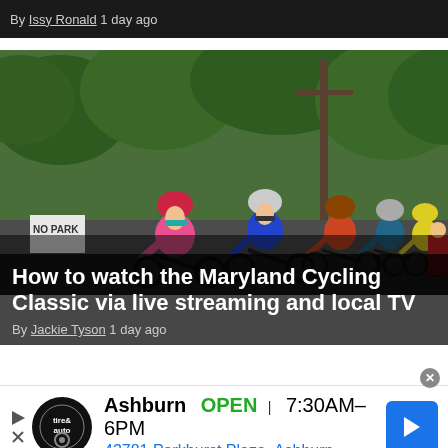By Issy Ronald 1 day ago
[Figure (photo): Group of cyclists racing in the Maryland Cycling Classic, with a lead rider in pink kit and helmet, followed by riders in blue and other colored kits, on a tree-lined road.]
How to watch the Maryland Cycling Classic via live streaming and local TV
By Jackie Tyson 1 day ago
[Figure (other): Advertisement for Tire & Auto service in Ashburn. Shows logo, business name, OPEN status, hours 7:30AM-6PM, and address 43781 Parkhurst Plaza, Ashburn.]